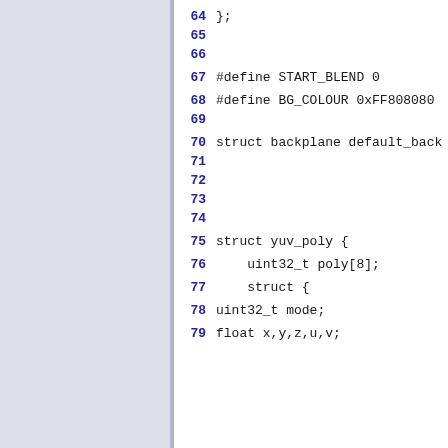64 };
65 
66 
67 #define START_BLEND 0
68 #define BG_COLOUR 0xFF808080
69 
70 struct backplane default_back
71 
72 
73 
74 
75 struct yuv_poly {
76     uint32_t poly[8];
77     struct {
78 uint32_t mode;
79 float x,y,z,u,v;